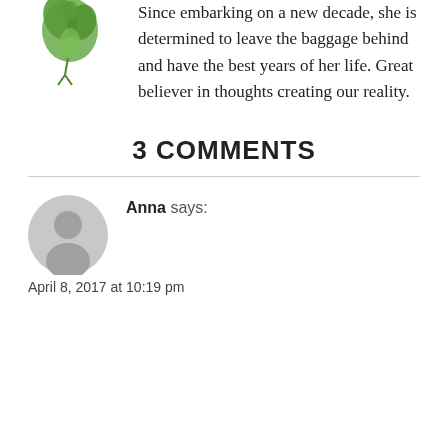[Figure (illustration): Small green illustrated figure of a woman with leaves]
Since embarking on a new decade, she is determined to leave the baggage behind and have the best years of her life. Great believer in thoughts creating our reality.
3 COMMENTS
[Figure (illustration): Gray circular avatar/user icon for commenter Anna]
Anna says:
April 8, 2017 at 10:19 pm